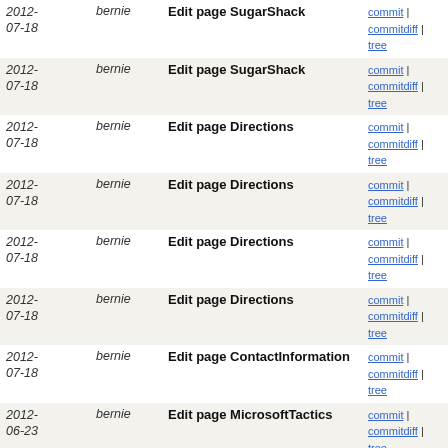| Date | Author | Description | Links |
| --- | --- | --- | --- |
| 2012-07-18 | bernie | Edit page SugarShack | commit | commitdiff | tree |
| 2012-07-18 | bernie | Edit page SugarShack | commit | commitdiff | tree |
| 2012-07-18 | bernie | Edit page Directions | commit | commitdiff | tree |
| 2012-07-18 | bernie | Edit page Directions | commit | commitdiff | tree |
| 2012-07-18 | bernie | Edit page Directions | commit | commitdiff | tree |
| 2012-07-18 | bernie | Edit page Directions | commit | commitdiff | tree |
| 2012-07-18 | bernie | Edit page ContactInformation | commit | commitdiff | tree |
| 2012-06-23 | bernie | Edit page MicrosoftTactics | commit | commitdiff | tree |
| 2012-05-13 | bernie | Edit page UbuntuPaperCuts | commit | commitdiff | tree |
| 2012-05-09 | bernie | Edit page CardiovascularValues | commit | commitdiff | tree |
| 2012-05-09 | bernie | Edit page MedicalRecords | commit | commitdiff | tree |
| 2012-05-05 | bernie | Edit page UbuntuPaperCuts | commit | commitdiff | tree |
| 2012-05-05 | bernie | Edit page UbuntuPaperCuts | commit | commitdiff | tree |